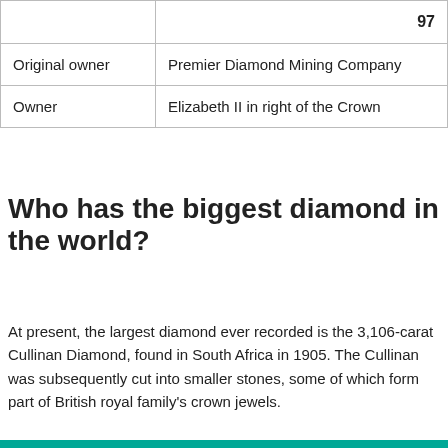|  | 97 |
| --- | --- |
| Original owner | Premier Diamond Mining Company |
| Owner | Elizabeth II in right of the Crown |
Who has the biggest diamond in the world?
At present, the largest diamond ever recorded is the 3,106-carat Cullinan Diamond, found in South Africa in 1905. The Cullinan was subsequently cut into smaller stones, some of which form part of British royal family's crown jewels.